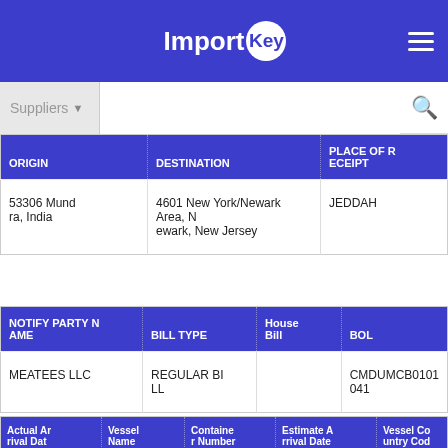ImportKey
| ORIGIN | DESTINATION | PLACE OF RECEIPT |
| --- | --- | --- |
| 53306 Mundra, India | 4601 New York/Newark Area, Newark, New Jersey | JEDDAH |
| NOTIFY PARTY NAME | BILL TYPE | House Bill | BOL |
| --- | --- | --- | --- |
| MEATEES LLC | REGULAR BILL |  | CMDUMCB0101041 |
| Actual Arrival Date | Vessel Name | Container Number | Estimate Arrival Date | Vessel Country Code |
| --- | --- | --- | --- | --- |